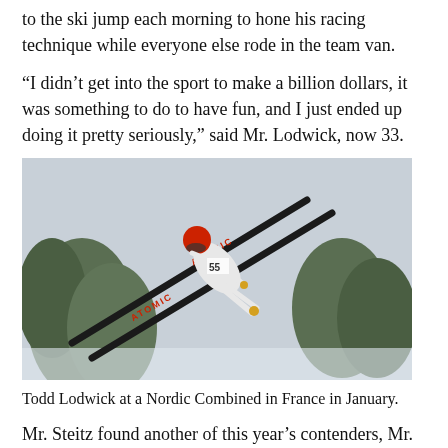to the ski jump each morning to hone his racing technique while everyone else rode in the team van.
“I didn’t get into the sport to make a billion dollars, it was something to do to have fun, and I just ended up doing it pretty seriously,” said Mr. Lodwick, now 33.
[Figure (photo): Todd Lodwick mid-air during a Nordic Combined ski jump event, wearing a white suit and red helmet, with Atomic brand skis extended, trees visible in background.]
Todd Lodwick at a Nordic Combined in France in January.
Mr. Steitz found another of this year’s contenders, Mr. Spillane, in Steamboat—living just six houses down the street from his own home. He said Mr. Spillane, now 29, didn’t have a lot of natural talent but trained harder than any young teenager he’d known. Another member of the team, Mr. Demong, was a solid 15-year-old